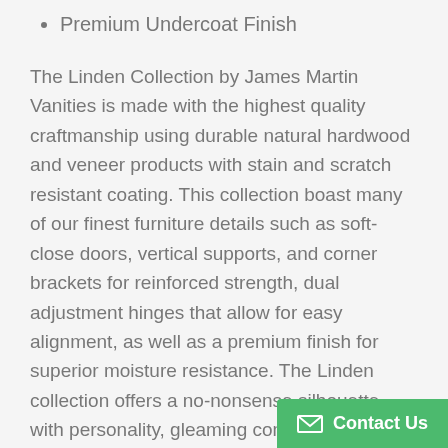Premium Undercoat Finish
The Linden Collection by James Martin Vanities is made with the highest quality craftmanship using durable natural hardwood and veneer products with stain and scratch resistant coating. This collection boast many of our finest furniture details such as soft-close doors, vertical supports, and corner brackets for reinforced strength, dual adjustment hinges that allow for easy alignment, as well as a premium finish for superior moisture resistance. The Linden collection offers a no-nonsense silhouette with personality, gleaming contemporary flavor catches a sophisticated aesthetic that will work with a variety of different décor. Made from solid poplar wood and veneers that is available in four different color variations as well as solid surface vanity top with an integrated sink that is constructed of a reliable, reinforced solid surface material which is cost-efficient, durable, and a practical countertop option. The impervious surface resists water, stain, mold, mildew and is bacteria resistant. Making this collec